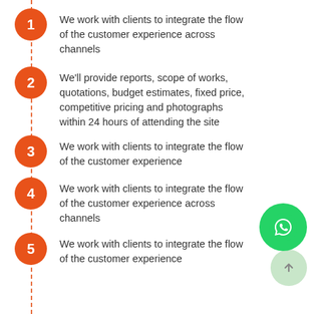We work with clients to integrate the flow of the customer experience across channels
We'll provide reports, scope of works, quotations, budget estimates, fixed price, competitive pricing and photographs within 24 hours of attending the site
We work with clients to integrate the flow of the customer experience
We work with clients to integrate the flow of the customer experience across channels
We work with clients to integrate the flow of the customer experience
[Figure (illustration): WhatsApp floating button (green circle with WhatsApp phone icon) and a light green scroll-to-top button in the bottom right corner]